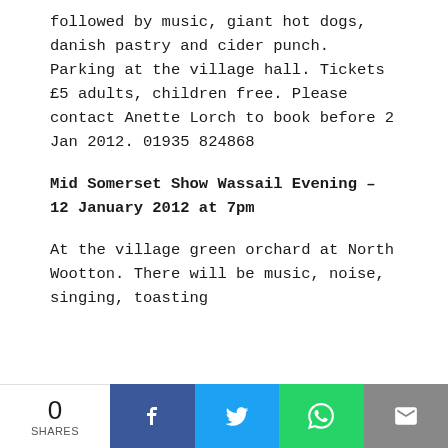followed by music, giant hot dogs, danish pastry and cider punch. Parking at the village hall. Tickets £5 adults, children free. Please contact Anette Lorch to book before 2 Jan 2012. 01935 824868
Mid Somerset Show Wassail Evening – 12 January 2012 at 7pm
At the village green orchard at North Wootton. There will be music, noise, singing, toasting